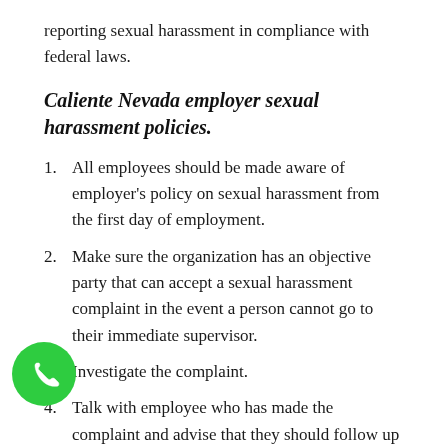reporting sexual harassment in compliance with federal laws.
Caliente Nevada employer sexual harassment policies.
All employees should be made aware of employer's policy on sexual harassment from the first day of employment.
Make sure the organization has an objective party that can accept a sexual harassment complaint in the event a person cannot go to their immediate supervisor.
Investigate the complaint.
Talk with employee who has made the complaint and advise that they should follow up if there is any form of retaliation.
Assure the accused that an unbiased examination of